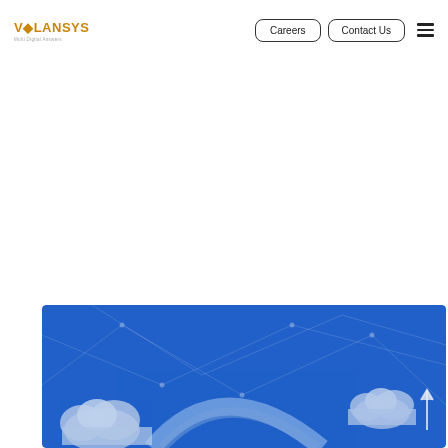VOLANSYS | Careers | Contact Us
[Figure (illustration): Blue banner with cloud computing illustration showing clouds and network connectivity lines on a blue background]